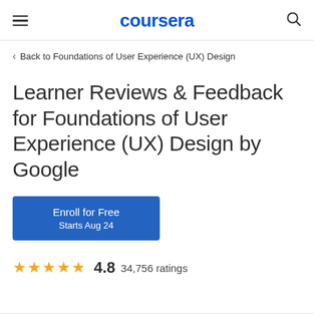coursera
< Back to Foundations of User Experience (UX) Design
Learner Reviews & Feedback for Foundations of User Experience (UX) Design by Google
Enroll for Free
Starts Aug 24
4.8  34,756 ratings